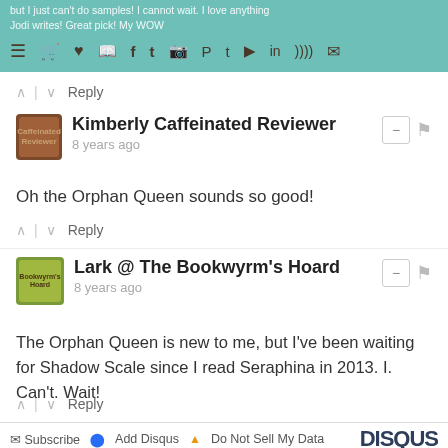but I just can't do samples! I cannot wait. I love anything Jodi writes! Great pick! My WOW
Reply
Kimberly Caffeinated Reviewer
8 years ago
Oh the Orphan Queen sounds so good!
Reply
Lark @ The Bookwyrm's Hoard
8 years ago
The Orphan Queen is new to me, but I've been waiting for Shadow Scale since I read Seraphina in 2013. I. Can't. Wait!
Reply
Subscribe   Add Disqus   Do Not Sell My Data   DISQUS
SEARCH THIS BLOG